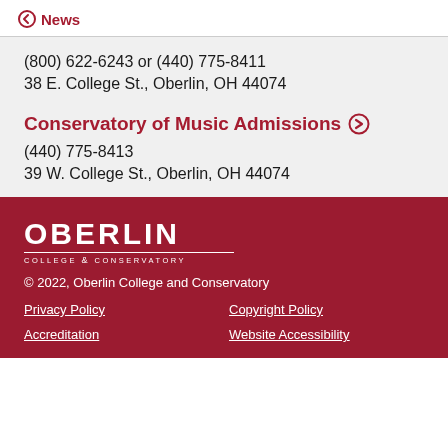← News
(800) 622-6243 or (440) 775-8411
38 E. College St., Oberlin, OH 44074
Conservatory of Music Admissions →
(440) 775-8413
39 W. College St., Oberlin, OH 44074
[Figure (logo): Oberlin College & Conservatory logo in white on dark red background]
© 2022, Oberlin College and Conservatory
Privacy Policy
Copyright Policy
Accreditation
Website Accessibility